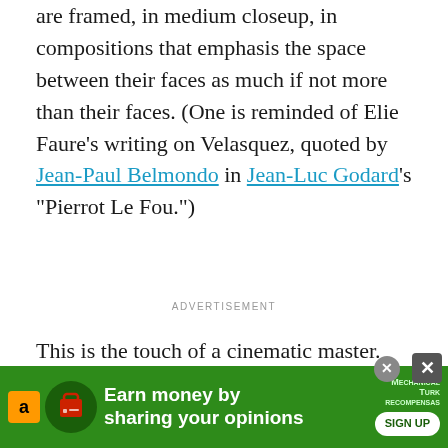are framed, in medium closeup, in compositions that emphasis the space between their faces as much if not more than their faces. (One is reminded of Elie Faure's writing on Velasquez, quoted by Jean-Paul Belmondo in Jean-Luc Godard's "Pierrot Le Fou.")
ADVERTISEMENT
This is the touch of a cinematic master. Claire Denis is the writer and director of this film, and she surely is this thing, as is her
[Figure (infographic): Green advertisement banner: Amazon logo, icon with shopping bag, text 'Earn money by sharing your opinions', Mechanical Turk branding, and SIGN UP button. Close buttons in top-right corner.]